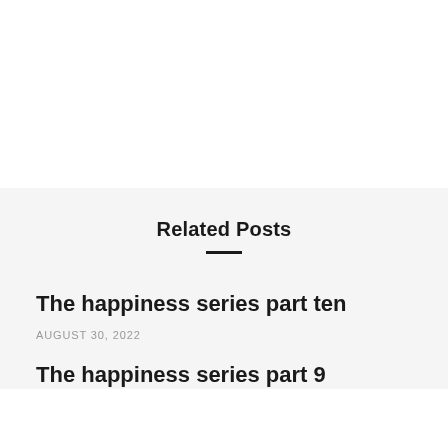Related Posts
The happiness series part ten
AUGUST 30, 2022
The happiness series part 9